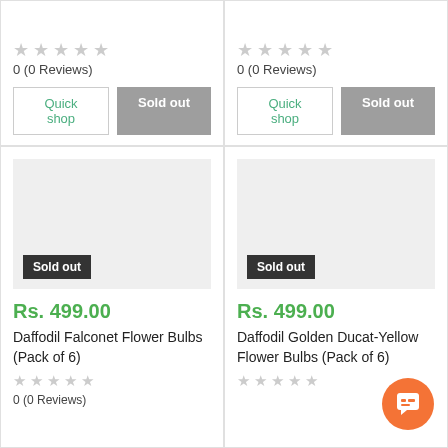[Figure (screenshot): E-commerce product grid showing 4 product cards (2x2). Top row shows two products with star ratings (0, 0 Reviews), Quick Shop and Sold out buttons. Bottom row shows two products: Daffodil Falconet Flower Bulbs (Pack of 6) and Daffodil Golden Ducat-Yellow Flower Bulbs (Pack of 6), each priced Rs. 499.00, with sold out badges on product images and star ratings (0, 0 Reviews).]